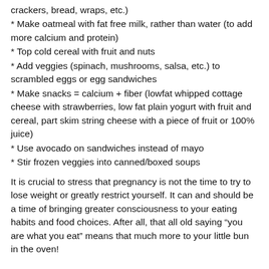crackers, bread, wraps, etc.)
* Make oatmeal with fat free milk, rather than water (to add more calcium and protein)
* Top cold cereal with fruit and nuts
* Add veggies (spinach, mushrooms, salsa, etc.) to scrambled eggs or egg sandwiches
* Make snacks = calcium + fiber (lowfat whipped cottage cheese with strawberries, low fat plain yogurt with fruit and cereal, part skim string cheese with a piece of fruit or 100% juice)
* Use avocado on sandwiches instead of mayo
* Stir frozen veggies into canned/boxed soups
It is crucial to stress that pregnancy is not the time to try to lose weight or greatly restrict yourself. It can and should be a time of bringing greater consciousness to your eating habits and food choices. After all, that all old saying “you are what you eat” means that much more to your little bun in the oven!